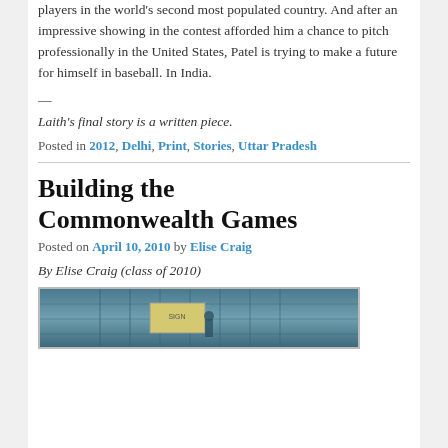players in the world's second most populated country. And after an impressive showing in the contest afforded him a chance to pitch professionally in the United States, Patel is trying to make a future for himself in baseball. In India.
—
Laith's final story is a written piece.
Posted in 2012, Delhi, Print, Stories, Uttar Pradesh
Building the Commonwealth Games
Posted on April 10, 2010 by Elise Craig
By Elise Craig (class of 2010)
[Figure (photo): Photo of a construction site, likely related to Commonwealth Games venue building, showing scaffolding or structural elements with a sign visible.]